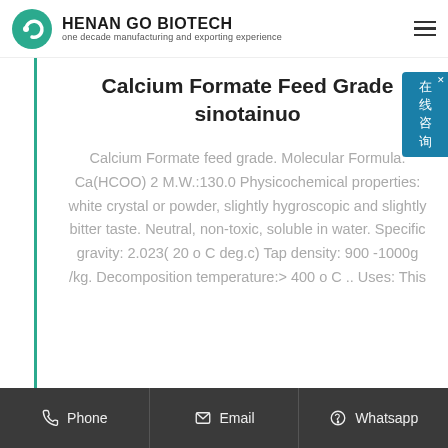HENAN GO BIOTECH – one decade manufacturing and exporting experience
Calcium Formate Feed Grade sinotainuo
Calcium Formate feed grade. Molecular Formula: Ca(HCOO) 2 M.W.:130.0 Physicochemical properties: white crystal or powder, slightly hygroscopic and slightly bitter taste. Neutral, non-toxic, soluble in water. Specific gravity: 2.023( 20 o C deg.c) Tap density: 900 -1000g /kg. Decomposition temperature:> 400 o C .. Uses: This
Phone  Email  Whatsapp